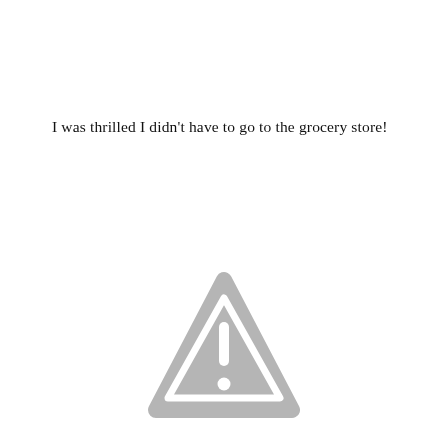I was thrilled I didn't have to go to the grocery store!
[Figure (illustration): A gray warning/caution triangle icon with a white exclamation mark inside, rounded corners on the triangle.]